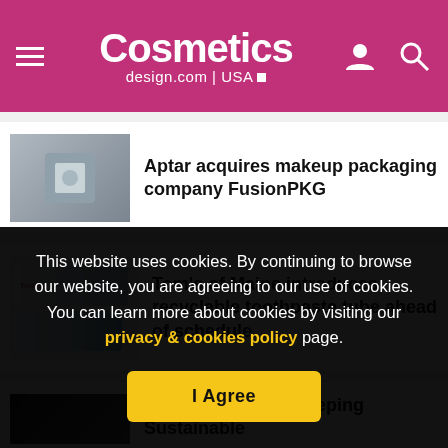Cosmetics design.com | USA
Aptar acquires makeup packaging company FusionPKG
Tom's of Maine introduces recyclable toothpaste tube ahead of schedule
2019 Good Housekeeping Sustainable
This website uses cookies. By continuing to browse our website, you are agreeing to our use of cookies. You can learn more about cookies by visiting our privacy & cookies policy page.
I Agree